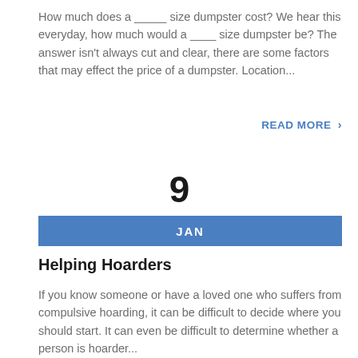How much does a _____ size dumpster cost? We hear this everyday, how much would a ____ size dumpster be? The answer isn't always cut and clear, there are some factors that may effect the price of a dumpster. Location...
READ MORE ›
9
JAN
Helping Hoarders
If you know someone or have a loved one who suffers from compulsive hoarding, it can be difficult to decide where you should start. It can even be difficult to determine whether a person is hoarder...